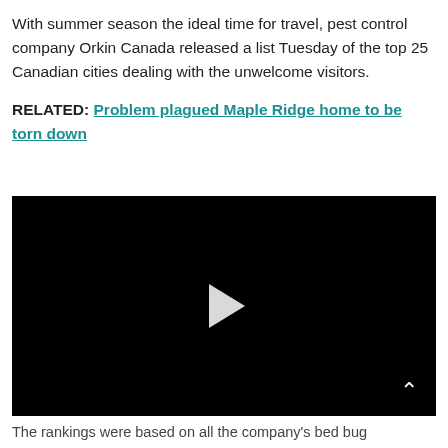With summer season the ideal time for travel, pest control company Orkin Canada released a list Tuesday of the top 25 Canadian cities dealing with the unwelcome visitors.
RELATED: Problem plagued Maple Ridge home to be torn down
[Figure (screenshot): Black video player with a white play button triangle in the center and a white chevron-up arrow in the bottom-right corner.]
The rankings were based on all the company's bed bug